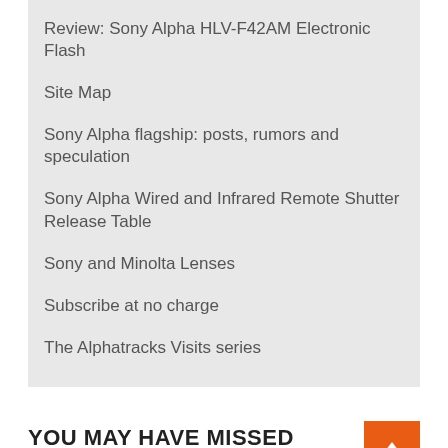Review: Sony Alpha HLV-F42AM Electronic Flash
Site Map
Sony Alpha flagship: posts, rumors and speculation
Sony Alpha Wired and Infrared Remote Shutter Release Table
Sony and Minolta Lenses
Subscribe at no charge
The Alphatracks Visits series
YOU MAY HAVE MISSED
[Figure (photo): Partial view of a camera lens at bottom of page]